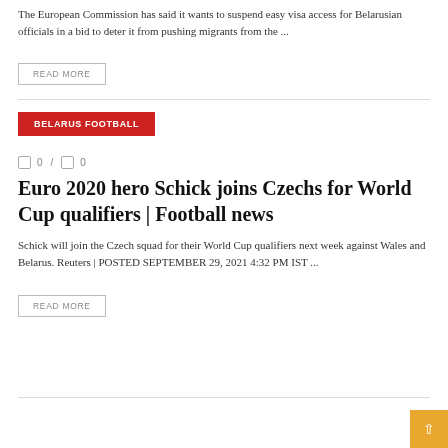The European Commission has said it wants to suspend easy visa access for Belarusian officials in a bid to deter it from pushing migrants from the ...
READ MORE
BELARUS FOOTBALL
0 / 0
Euro 2020 hero Schick joins Czechs for World Cup qualifiers | Football news
Schick will join the Czech squad for their World Cup qualifiers next week against Wales and Belarus. Reuters | POSTED SEPTEMBER 29, 2021 4:32 PM IST ...
READ MORE